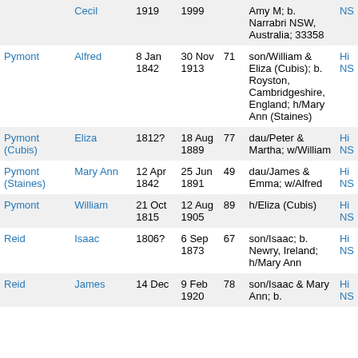| Surname | Given | Born | Died | Age | Notes |  |
| --- | --- | --- | --- | --- | --- | --- |
| Cecil |  | 1919 | 1999 |  | Amy M; b. Narrabri NSW, Australia; 33358 | NS |
| Pymont | Alfred | 8 Jan 1842 | 30 Nov 1913 | 71 | son/William & Eliza (Cubis); b. Royston, Cambridgeshire, England; h/Mary Ann (Staines) | Hi NS |
| Pymont (Cubis) | Eliza | 1812? | 18 Aug 1889 | 77 | dau/Peter & Martha; w/William | Hi NS |
| Pymont (Staines) | Mary Ann | 12 Apr 1842 | 25 Jun 1891 | 49 | dau/James & Emma; w/Alfred | Hi NS |
| Pymont | William | 21 Oct 1815 | 12 Aug 1905 | 89 | h/Eliza (Cubis) | Hi NS |
| Reid | Isaac | 1806? | 6 Sep 1873 | 67 | son/Isaac; b. Newry, Ireland; h/Mary Ann | Hi NS |
| Reid | James | 14 Dec | 9 Feb 1920 | 78 | son/Isaac & Mary Ann; b. | Hi NS |